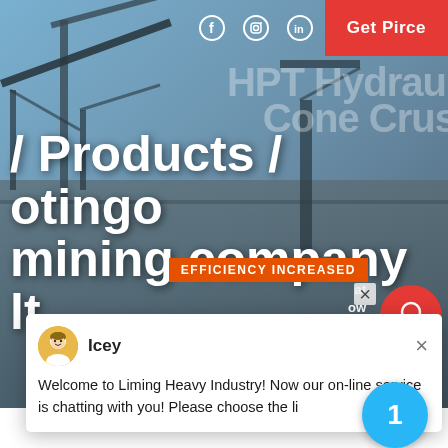[Figure (screenshot): Website screenshot of Liming Heavy Industry mining company page showing HPT Hydraulic Cone Crusher hero section with industrial machinery background, social media icons, Get Price button, and chat overlay]
/ Products / otingo mining company lt
HPT Hydraulic Cone Crus
EFFICIENCY INCREASED
Icey
Welcome to Liming Heavy Industry! Now our on-line service is chatting with you! Please choose the l
[Figure (photo): Industrial cone crusher equipment inside a warehouse/factory building]